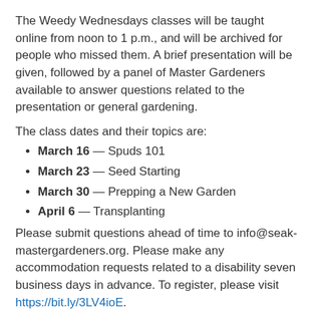The Weedy Wednesdays classes will be taught online from noon to 1 p.m., and will be archived for people who missed them. A brief presentation will be given, followed by a panel of Master Gardeners available to answer questions related to the presentation or general gardening.
The class dates and their topics are:
March 16 — Spuds 101
March 23 — Seed Starting
March 30 — Prepping a New Garden
April 6 — Transplanting
Please submit questions ahead of time to info@seak-mastergardeners.org. Please make any accommodation requests related to a disability seven business days in advance. To register, please visit https://bit.ly/3LV4ioE.
Posted in Alaska Grown, education, Food choices, food security, Gardens,